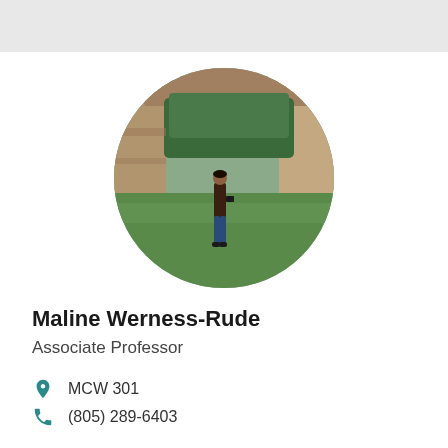[Figure (photo): Circular profile photo of Maline Werness-Rude standing in a grassy area framed by large stone slabs, holding a camera, wearing a dark jacket and jeans.]
Maline Werness-Rude
Associate Professor
MCW 301
(805) 289-6403